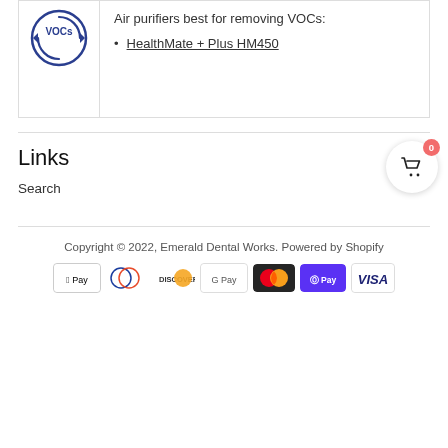[Figure (logo): Circular blue logo with VOCs text and circular arrows]
Air purifiers best for removing VOCs:
HealthMate + Plus HM450
Links
Search
[Figure (other): Shopping cart button with badge showing 0]
Copyright © 2022, Emerald Dental Works. Powered by Shopify
[Figure (other): Payment method icons: Apple Pay, Diners Club, Discover, Google Pay, Mastercard, Shop Pay, Visa]